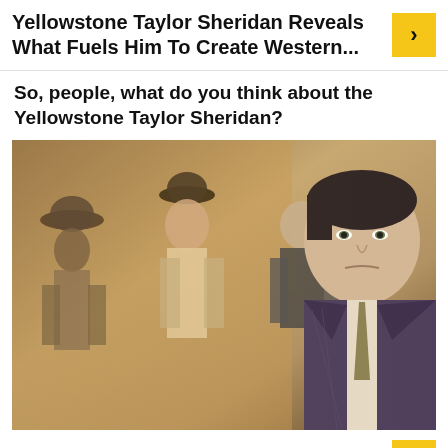Yellowstone Taylor Sheridan Reveals What Fuels Him To Create Western...
So, people, what do you think about the Yellowstone Taylor Sheridan?
[Figure (photo): Composite promotional photo showing Yellowstone TV show cast members in western attire alongside Taylor Sheridan in a suit.]
Credit – theringer.com